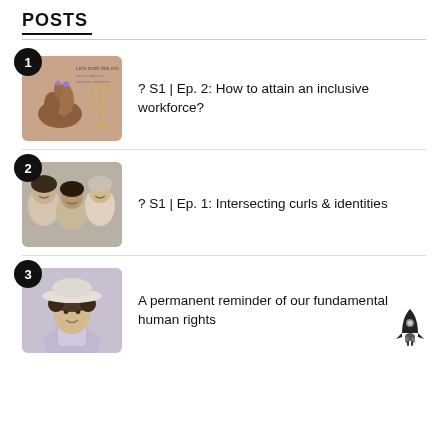POSTS
? S1 | Ep. 2: How to attain an inclusive workforce?
? S1 | Ep. 1: Intersecting curls & identities
A permanent reminder of our fundamental human rights